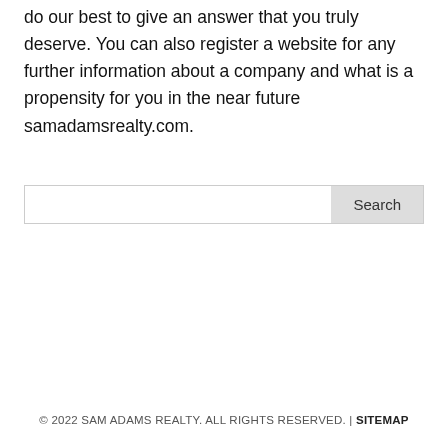do our best to give an answer that you truly deserve. You can also register a website for any further information about a company and what is a propensity for you in the near future samadamsrealty.com.
[Figure (other): Search bar with text input field and Search button]
© 2022 SAM ADAMS REALTY. ALL RIGHTS RESERVED. | SITEMAP